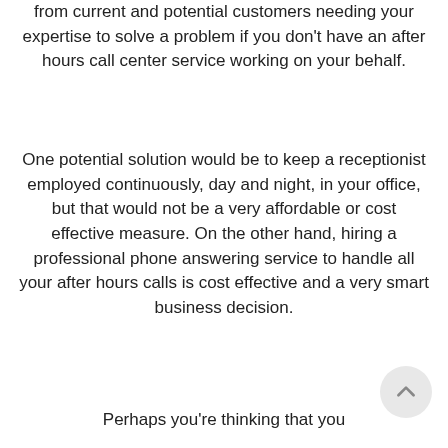from current and potential customers needing your expertise to solve a problem if you don't have an after hours call center service working on your behalf.
One potential solution would be to keep a receptionist employed continuously, day and night, in your office, but that would not be a very affordable or cost effective measure. On the other hand, hiring a professional phone answering service to handle all your after hours calls is cost effective and a very smart business decision.
Perhaps you're thinking that you